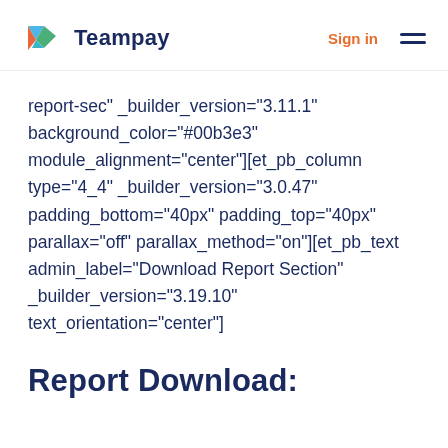Teampay — Sign in
report-sec" _builder_version="3.11.1" background_color="#00b3e3" module_alignment="center"][et_pb_column type="4_4" _builder_version="3.0.47" padding_bottom="40px" padding_top="40px" parallax="off" parallax_method="on"][et_pb_text admin_label="Download Report Section" _builder_version="3.19.10" text_orientation="center"]
Report Download: